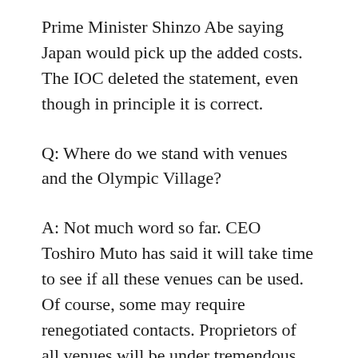Prime Minister Shinzo Abe saying Japan would pick up the added costs. The IOC deleted the statement, even though in principle it is correct.
Q: Where do we stand with venues and the Olympic Village?
A: Not much word so far. CEO Toshiro Muto has said it will take time to see if all these venues can be used. Of course, some may require renegotiated contacts. Proprietors of all venues will be under tremendous pressure to cooperate so the original competition schedule can be maintained. Tokyo's Big Sight convention center is likely to remain the media center. Muto said it has been configured for the Olympics and hinted it would likely stay that way. The Olympics...